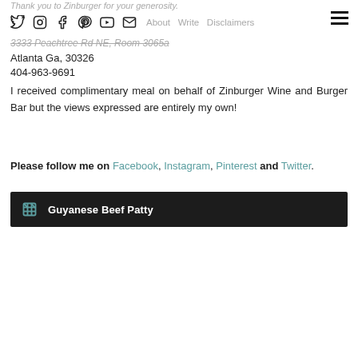Thank you to Zinburger for your generosity.
About  Write  Disclaimers
3333 Peachtree Rd NE, Room 3065a
Atlanta Ga, 30326
404-963-9691
I received complimentary meal on behalf of Zinburger Wine and Burger Bar but the views expressed are entirely my own!
Please follow me on Facebook, Instagram, Pinterest and Twitter.
Guyanese Beef Patty